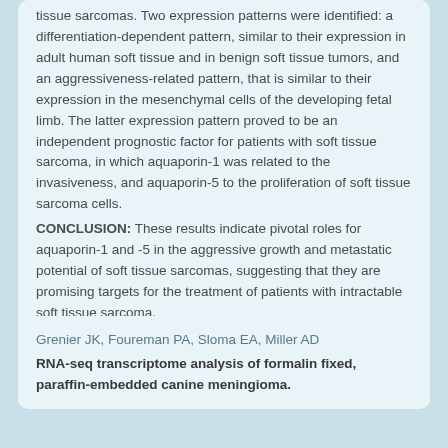tissue sarcomas. Two expression patterns were identified: a differentiation-dependent pattern, similar to their expression in adult human soft tissue and in benign soft tissue tumors, and an aggressiveness-related pattern, that is similar to their expression in the mesenchymal cells of the developing fetal limb. The latter expression pattern proved to be an independent prognostic factor for patients with soft tissue sarcoma, in which aquaporin-1 was related to the invasiveness, and aquaporin-5 to the proliferation of soft tissue sarcoma cells. CONCLUSION: These results indicate pivotal roles for aquaporin-1 and -5 in the aggressive growth and metastatic potential of soft tissue sarcomas, suggesting that they are promising targets for the treatment of patients with intractable soft tissue sarcoma.
Grenier JK, Foureman PA, Sloma EA, Miller AD
RNA-seq transcriptome analysis of formalin fixed, paraffin-embedded canine meningioma.